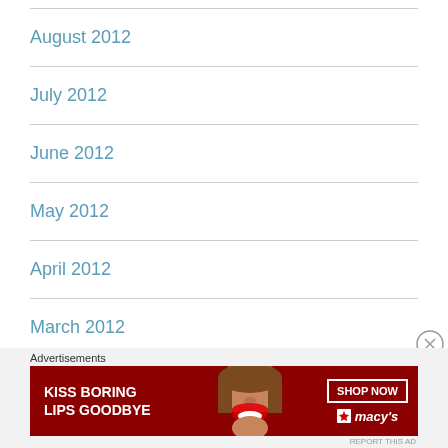August 2012
July 2012
June 2012
May 2012
April 2012
March 2012
February 2012
[Figure (photo): Macy's advertisement banner: 'KISS BORING LIPS GOODBYE' with a woman's face showing red lips, SHOP NOW button and Macy's logo]
Advertisements